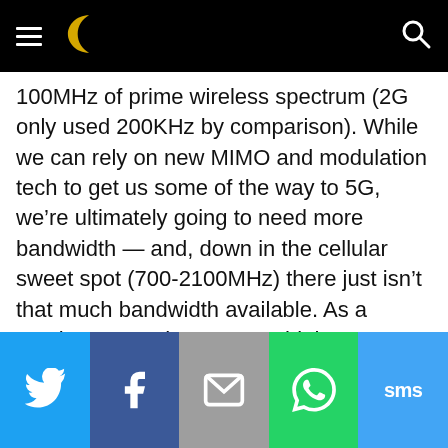Navigation bar with hamburger menu, crescent logo, and search icon
100MHz of prime wireless spectrum (2G only used 200KHz by comparison). While we can rely on new MIMO and modulation tech to get us some of the way to 5G, we’re ultimately going to need more bandwidth — and, down in the cellular sweet spot (700-2100MHz) there just isn’t that much bandwidth available. As a result, 5G may have to use higher frequencies (30-90GHz) where there’s a lot more free space — but the millimeter wave frequencies have their own problems (they are very rapidly attenuated by obstacles) that will need to be worked around.
Share bar: Twitter, Facebook, Email, WhatsApp, SMS